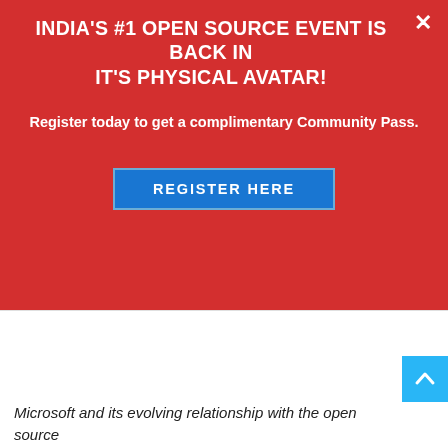INDIA'S #1 OPEN SOURCE EVENT IS BACK IN IT'S PHYSICAL AVATAR!
Register today to get a complimentary Community Pass.
REGISTER HERE
Microsoft and its evolving relationship with the open source paradigm is a good case study into how breakthrough